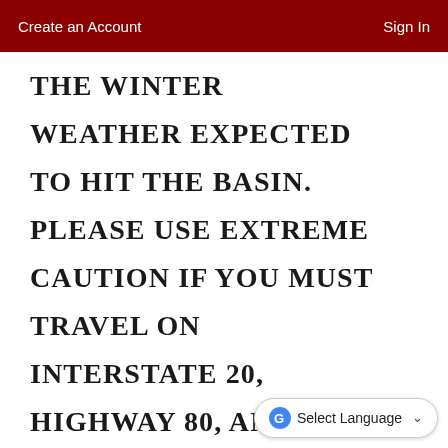Create an Account  |  Sign In
THE WINTER WEATHER EXPECTED TO HIT THE BASIN. PLEASE USE EXTREME CAUTION IF YOU MUST TRAVEL ON INTERSTATE 20, HIGHWAY 80, AND HIGHWAY 191. REMEMBER THE